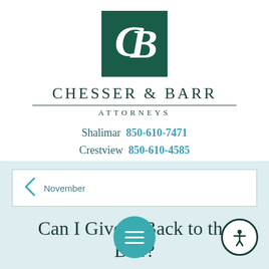[Figure (logo): Chesser & Barr law firm logo — dark teal square with intertwined C and B letters in white]
CHESSER & BARR ATTORNEYS
Shalimar  850-610-7471
Crestview  850-610-4585
November
Can I Give It Back to the B...?